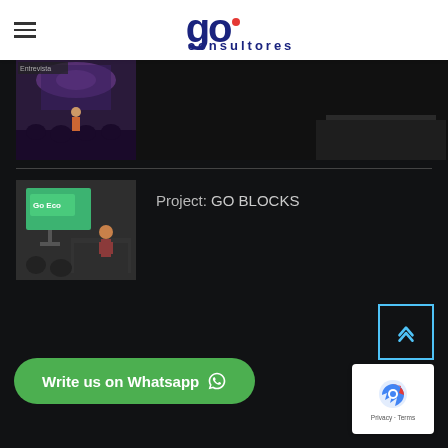go consultores — navigation header with hamburger menu and logo
[Figure (screenshot): Partially visible thumbnail of a presentation event on dark background, top row]
[Figure (screenshot): Thumbnail of Go Eco presentation event — woman presenting in front of a green screen showing 'Go Eco']
Project: GO BLOCKS
Write us on Whatsapp
[Figure (logo): reCAPTCHA badge with Privacy and Terms links]